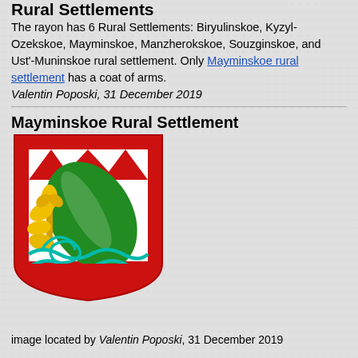Rural Settlements
The rayon has 6 Rural Settlements: Biryulinskoe, Kyzyl-Ozekskoe, Mayminskoe, Manzherokskoe, Souzginskoe, and Ust'-Muninskoe rural settlement. Only Mayminskoe rural settlement has a coat of arms.
Valentin Poposki, 31 December 2019
Mayminskoe Rural Settlement
[Figure (illustration): Coat of arms of Mayminskoe Rural Settlement: red shield with white mountain peaks at top, green leaf/feather shape, yellow plant/oak branch, and teal/cyan wavy river lines at bottom.]
image located by Valentin Poposki, 31 December 2019